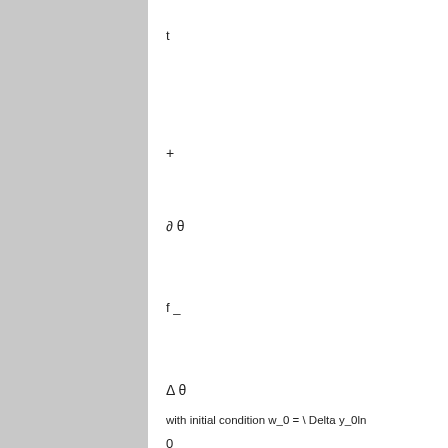with initial condition w_0 = \ Delta y_0ln